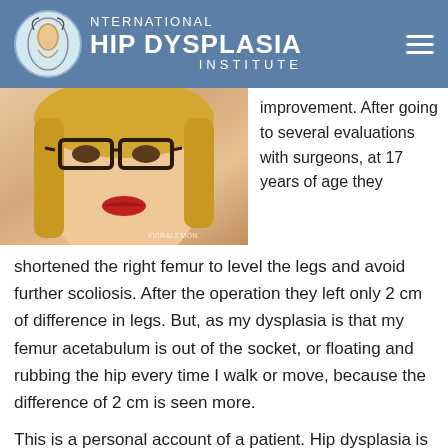INTERNATIONAL HIP DYSPLASIA INSTITUTE
[Figure (photo): Close-up photo of a blonde woman wearing dark-framed glasses and red lipstick, with #VIRALEMON watermark]
improvement. After going to several evaluations with surgeons, at 17 years of age they shortened the right femur to level the legs and avoid further scoliosis. After the operation they left only 2 cm of difference in legs. But, as my dysplasia is that my femur acetabulum is out of the socket, or floating and rubbing the hip every time I walk or move, because the difference of 2 cm is seen more.
This is a personal account of a patient. Hip dysplasia is a